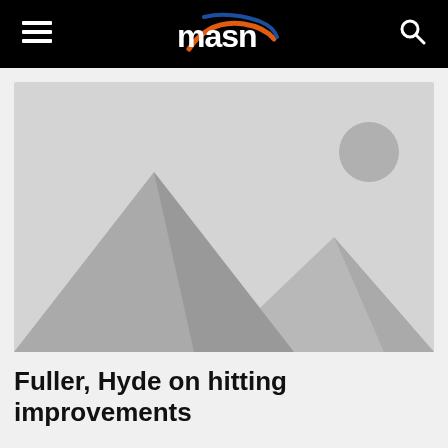masn
[Figure (photo): Placeholder image with grey background, two mountain silhouettes and a circle representing the sun in the upper right]
Fuller, Hyde on hitting improvements